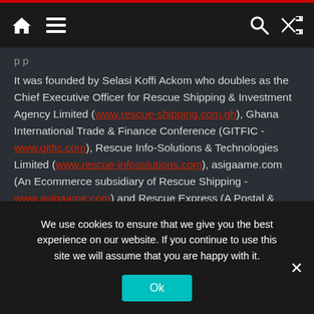Navigation bar with home, menu, search, and shuffle icons
It was founded by Selasi Koffi Ackom who doubles as the Chief Executive Officer for Rescue Shipping & Investment Agency Limited (www.rescue-shipping.com.gh), Ghana International Trade & Finance Conference (GITFIC - www.gitfic.com), Rescue Info-Solutions & Technologies Limited (www.rescue-infosolutions.com), asigaame.com (An Ecommerce subsidiary of Rescue Shipping - www.asigaame.com) and Rescue Express (A Postal & Courier Subsidiary of Rescue Shipping - https://www.rescue-shipping.com.gh/courier/ ) with 70% ownership.
GITFICONLINE is a Pan-African and Global Business News Outlet with strict focus on Trade, Finance, Trade-Finance &
We use cookies to ensure that we give you the best experience on our website. If you continue to use this site we will assume that you are happy with it.